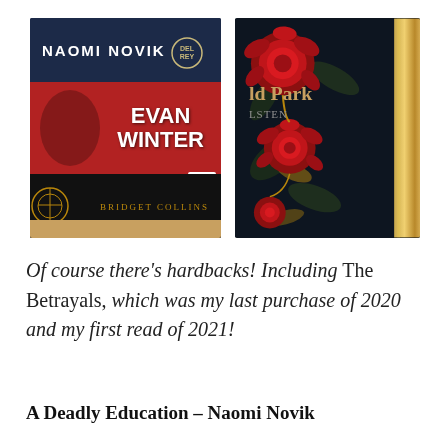[Figure (photo): Two photos side by side: left photo shows stacked book spines including Naomi Novik (navy blue), Evan Winter (red, Orbit), and Bridget Collins (black with gold); right photo shows a decorative hardback book with black cover featuring red roses and gold details, with 'ld Park' and 'STEN' visible on the cover, with a gold spine.]
Of course there’s hardbacks! Including The Betrayals, which was my last purchase of 2020 and my first read of 2021!
A Deadly Education – Naomi Novik